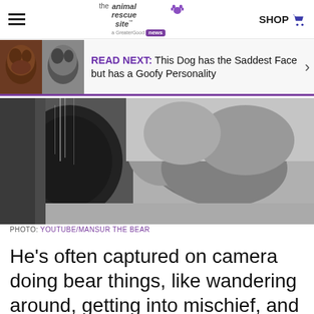the animal rescue site news — SHOP
READ NEXT: This Dog has the Saddest Face but has a Goofy Personality
[Figure (photo): Black and white close-up photo of a bear pushing through or emerging from what appears to be a circular opening or drain]
PHOTO: YOUTUBE/MANSUR THE BEAR
He’s often captured on camera doing bear things, like wandering around, getting into mischief, and taking naps. One night, a camera caught poor Mansur being